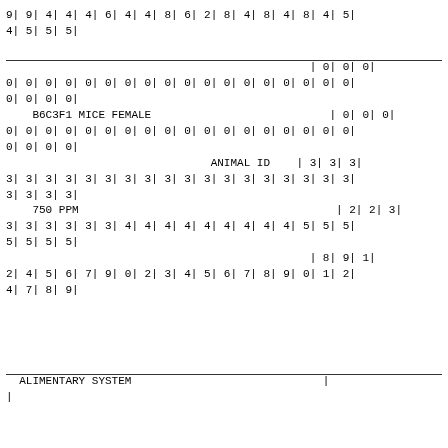9| 9| 4| 4| 4| 6| 4| 4| 8| 6| 2| 8| 4| 8| 4| 8| 4| 5|
4| 5| 5| 5|
| 0| 0| 0|
0| 0| 0| 0| 0| 0| 0| 0| 0| 0| 0| 0| 0| 0| 0| 0| 0| 0|
0| 0| 0| 0|
    B6C3F1 MICE FEMALE                           | 0| 0| 0|
0| 0| 0| 0| 0| 0| 0| 0| 0| 0| 0| 0| 0| 0| 0| 0| 0| 0|
0| 0| 0| 0|
                               ANIMAL ID    | 3| 3| 3|
3| 3| 3| 3| 3| 3| 3| 3| 3| 3| 3| 3| 3| 3| 3| 3| 3| 3|
3| 3| 3| 3|
    750 PPM                                       | 2| 2| 3|
3| 3| 3| 3| 3| 3| 4| 4| 4| 4| 4| 4| 4| 4| 4| 5| 5| 5|
5| 5| 5| 5|
                                              | 8| 9| 1|
2| 4| 5| 6| 7| 9| 0| 2| 3| 4| 5| 6| 7| 8| 9| 0| 1| 2|
4| 7| 8| 9|
ALIMENTARY SYSTEM                             |
|